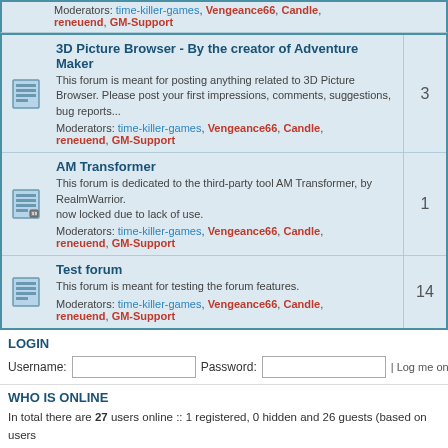Moderators: time-killer-games, Vengeance66, Candle, reneuend, GM-Support
3D Picture Browser - By the creator of Adventure Maker
This forum is meant for posting anything related to 3D Picture Browser. Please post your first impressions, comments, suggestions, bug reports... Moderators: time-killer-games, Vengeance66, Candle, reneuend, GM-Support
AM Transformer
This forum is dedicated to the third-party tool AM Transformer, by RealmWarrior.
now locked due to lack of use.
Moderators: time-killer-games, Vengeance66, Candle, reneuend, GM-Support
Test forum
This forum is meant for testing the forum features. Moderators: time-killer-games, Vengeance66, Candle, reneuend, GM-Support
LOGIN
Username: [input] Password: [input] | Log me on autom
WHO IS ONLINE
In total there are 27 users online :: 1 registered, 0 hidden and 26 guests (based on users Most users ever online was 343 on Sat Apr 30, 2016 12:14 pm
Registered users: Bing [Bot]
Legend: Administrators, Global moderators